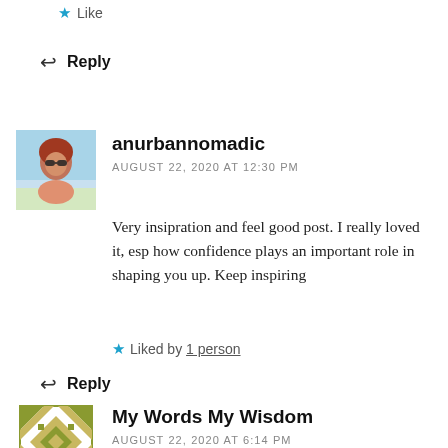★ Like
↩ Reply
anurbannomadic
AUGUST 22, 2020 AT 12:30 PM
Very insipration and feel good post. I really loved it, esp how confidence plays an important role in shaping you up. Keep inspiring
★ Liked by 1 person
↩ Reply
[Figure (photo): Avatar photo of anurbannomadic — woman with red hair and sunglasses on a beach]
My Words My Wisdom
AUGUST 22, 2020 AT 6:14 PM
[Figure (illustration): Avatar logo of My Words My Wisdom — geometric diamond/star pattern in olive green and tan]